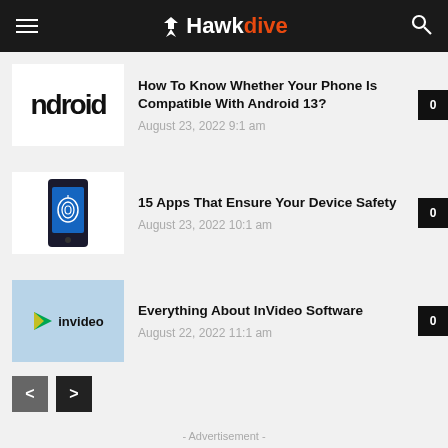Hawkdive
How To Know Whether Your Phone Is Compatible With Android 13? — August 23, 2022 9:1 am
15 Apps That Ensure Your Device Safety — August 23, 2022 10:1 am
Everything About InVideo Software — August 22, 2022 11:1 am
< >
- Advertisement -